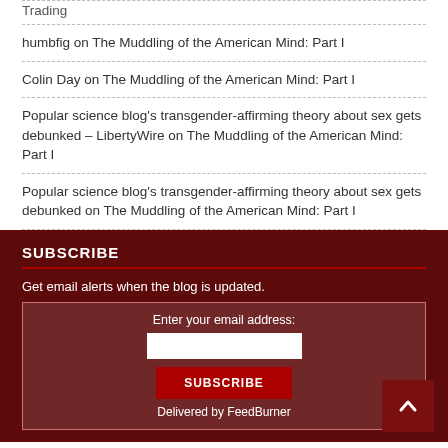humbfig on The Muddling of the American Mind: Part I
Colin Day on The Muddling of the American Mind: Part I
Popular science blog's transgender-affirming theory about sex gets debunked – LibertyWire on The Muddling of the American Mind: Part I
Popular science blog's transgender-affirming theory about sex gets debunked on The Muddling of the American Mind: Part I
SUBSCRIBE
Get email alerts when the blog is updated.
Enter your email address:
SUBSCRIBE
Delivered by FeedBurner